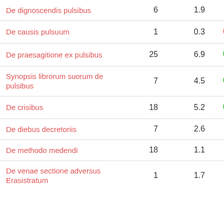| Title | Count | Value | Indicator |
| --- | --- | --- | --- |
| De dignoscendis pulsibus | 6 | 1.9 |  |
| De causis pulsuum | 1 | 0.3 | red dot |
| De praesagitione ex pulsibus | 25 | 6.9 | green dot |
| Synopsis librorum suorum de pulsibus | 7 | 4.5 | green dot |
| De crisibus | 18 | 5.2 | green dot |
| De diebus decretoriis | 7 | 2.6 |  |
| De methodo medendi | 18 | 1.1 |  |
| De venae sectione adversus Erasistratum | 1 | 1.7 |  |